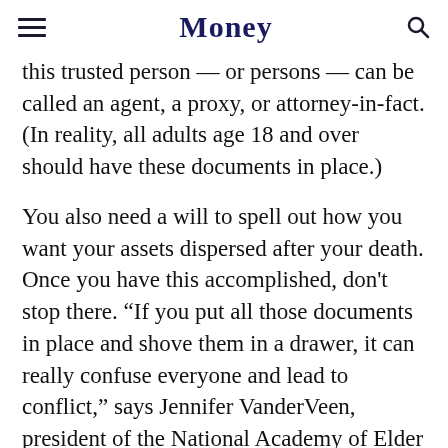Money
this trusted person — or persons — can be called an agent, a proxy, or attorney-in-fact. (In reality, all adults age 18 and over should have these documents in place.)
You also need a will to spell out how you want your assets dispersed after your death. Once you have this accomplished, don't stop there. “If you put all those documents in place and shove them in a drawer, it can really confuse everyone and lead to conflict,” says Jennifer VanderVeen, president of the National Academy of Elder Law Attorneys and a practicing older law